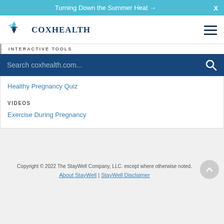Turning Down the Summer Heat →
[Figure (logo): CoxHealth logo with star/sparkle icon and text CoxHealth]
INTERACTIVE TOOLS
Search coxhealth.com...
Healthy Pregnancy Quiz
VIDEOS
Exercise During Pregnancy
Copyright © 2022 The StayWell Company, LLC. except where otherwise noted. About StayWell | StayWell Disclaimer